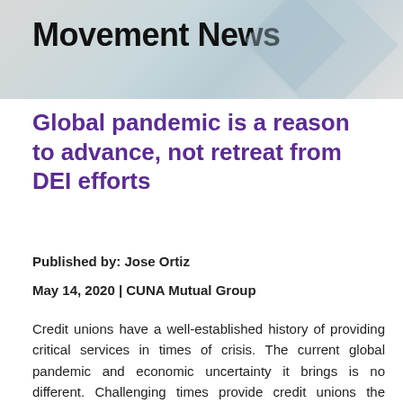Movement News
Global pandemic is a reason to advance, not retreat from DEI efforts
Published by: Jose Ortiz
May 14, 2020 | CUNA Mutual Group
Credit unions have a well-established history of providing critical services in times of crisis. The current global pandemic and economic uncertainty it brings is no different. Challenging times provide credit unions the opportunity to fully dive into serving the health and well-being of all members and local communities. While it